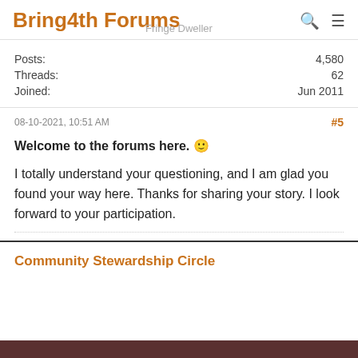Bring4th Forums
Fringe Dweller
| Field | Value |
| --- | --- |
| Posts: | 4,580 |
| Threads: | 62 |
| Joined: | Jun 2011 |
08-10-2021, 10:51 AM
#5
Welcome to the forums here. 🙂
I totally understand your questioning, and I am glad you found your way here. Thanks for sharing your story. I look forward to your participation.
Community Stewardship Circle